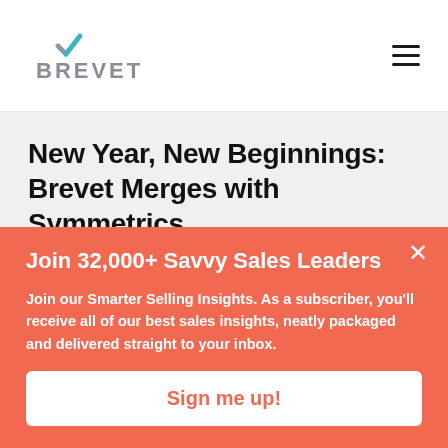[Figure (logo): Brevet company logo with a teal/gray checkmark icon above the word BREVET in gray sans-serif letters]
New Year, New Beginnings: Brevet Merges with Symmetrics
Join 32,000+ Savvy Sales Leaders
Join our Smarter Selling Insights. As a subscriber, you'll receive all of our best sales insights, neatly packaged and delivered straight to your inbox.
Sign me up!